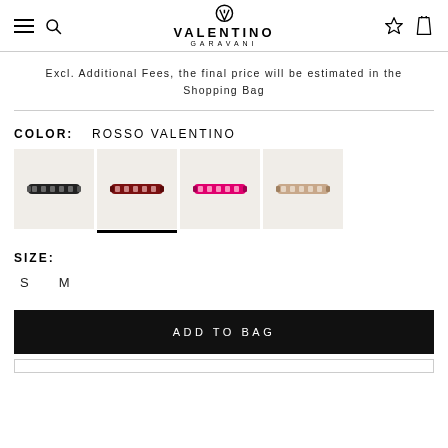VALENTINO GARAVANI
Excl. Additional Fees, the final price will be estimated in the Shopping Bag
COLOR: ROSSO VALENTINO
[Figure (photo): Four bracelet color swatches: black, dark red (selected), pink/fuchsia, light rose/beige]
SIZE:
S   M
ADD TO BAG